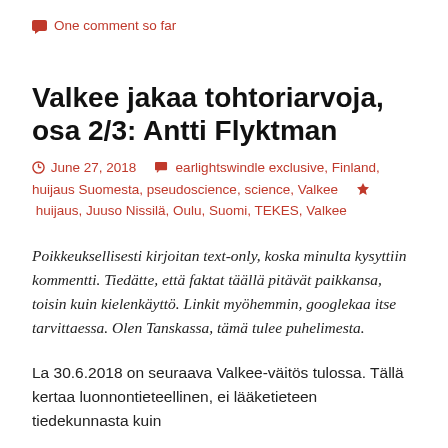One comment so far
Valkee jakaa tohtoriarvoja, osa 2/3: Antti Flyktman
June 27, 2018   earlightswindle exclusive, Finland, huijaus Suomesta, pseudoscience, science, Valkee   huijaus, Juuso Nissilä, Oulu, Suomi, TEKES, Valkee
Poikkeuksellisesti kirjoitan text-only, koska minulta kysyttiin kommentti. Tiedätte, että faktat täällä pitävät paikkansa, toisin kuin kielenkäyttö. Linkit myöhemmin, googlekaa itse tarvittaessa. Olen Tanskassa, tämä tulee puhelimesta.
La 30.6.2018 on seuraava Valkee-väitös tulossa. Tällä kertaa luonnontieteellinen, ei lääketieteen tiedekunnasta kuin